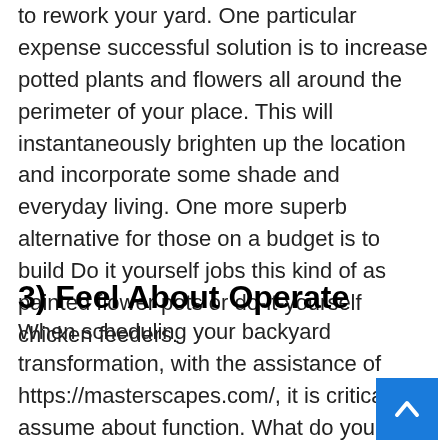to rework your yard. One particular expense successful solution is to increase potted plants and flowers all around the perimeter of your place. This will instantaneously brighten up the location and incorporate some shade and everyday living. One more superb alternative for those on a budget is to build Do it yourself jobs this kind of as painted flower pots or do-it-yourself chicken feeders.
3) Feel About Operate
When scheduling your backyard transformation, with the assistance of https://masterscapes.com/, it is critical to assume about function. What do you want to use your backyard for? Do you want a place for entertaining company? Or are you on the lookout for a tranquil place to take it easy following a extended working day? Once you have